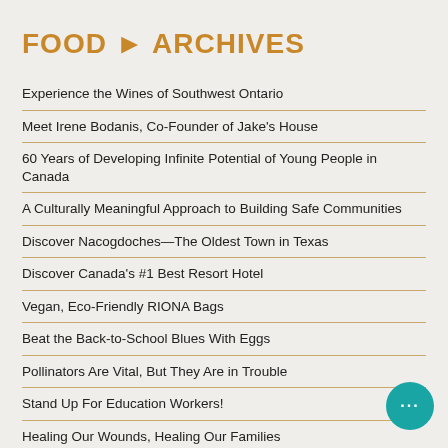FOOD ► ARCHIVES
Experience the Wines of Southwest Ontario
Meet Irene Bodanis, Co-Founder of Jake's House
60 Years of Developing Infinite Potential of Young People in Canada
A Culturally Meaningful Approach to Building Safe Communities
Discover Nacogdoches—The Oldest Town in Texas
Discover Canada's #1 Best Resort Hotel
Vegan, Eco-Friendly RIONA Bags
Beat the Back-to-School Blues With Eggs
Pollinators Are Vital, But They Are in Trouble
Stand Up For Education Workers!
Healing Our Wounds, Healing Our Families
Creating a Network of Emergency and Mental Health Supp…
Buddies in Bad Times Theatre: Queer Art Takes the Stage